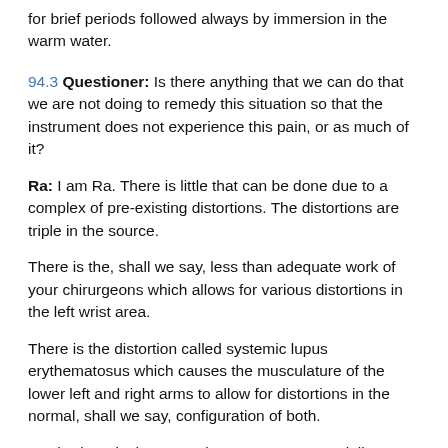for brief periods followed always by immersion in the warm water.
94.3 Questioner: Is there anything that we can do that we are not doing to remedy this situation so that the instrument does not experience this pain, or as much of it?
Ra: I am Ra. There is little that can be done due to a complex of pre-existing distortions. The distortions are triple in the source.
There is the, shall we say, less than adequate work of your chirurgeons which allows for various distortions in the left wrist area.
There is the distortion called systemic lupus erythematosus which causes the musculature of the lower left and right arms to allow for distortions in the normal, shall we say, configuration of both.
Lastly, there is the nerve damage, more especially